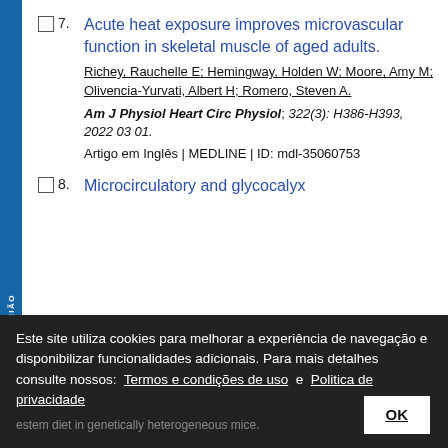7. Acute heat exposure improves microvascular function in skeletal muscle of aged adults. Richey, Rauchelle E; Hemingway, Holden W; Moore, Amy M; Olivencia-Yurvati, Albert H; Romero, Steven A. Am J Physiol Heart Circ Physiol; 322(3): H386-H393, 2022 03 01. Artigo em Inglês | MEDLINE | ID: mdl-35060753
8. Microcirculatory and glycocalyx ...
Este site utiliza cookies para melhorar a experiência de navegação e disponibilizar funcionalidades adicionais. Para mais detalhes consulte nossos: Termos e condições de uso e Politica de privacidade